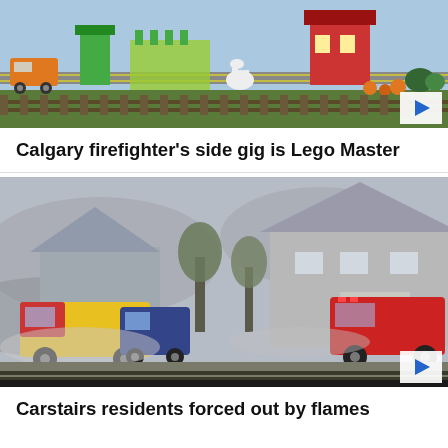[Figure (photo): Lego model scene with colorful buildings, vehicles, and miniature landscape items. A play button icon is visible in the bottom-right corner.]
Calgary firefighter's side gig is Lego Master
[Figure (photo): Smoky scene showing fire trucks and emergency vehicles near residential houses obscured by heavy smoke. A play button icon is visible in the bottom-right corner.]
Carstairs residents forced out by flames